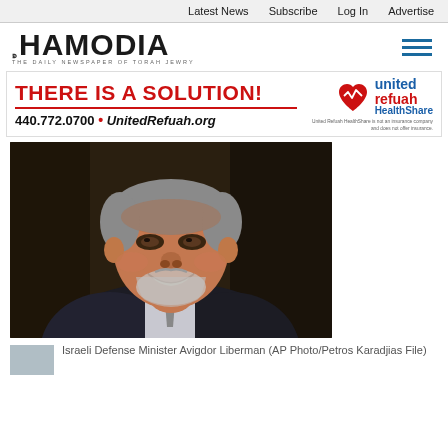Latest News   Subscribe   Log In   Advertise
[Figure (logo): Hamodia newspaper logo with Hebrew text and tagline 'THE DAILY NEWSPAPER OF TORAH JEWRY']
[Figure (infographic): United Refuah HealthShare advertisement banner: 'THERE IS A SOLUTION! 440.772.0700 • UnitedRefuah.org' with logo]
[Figure (photo): Israeli Defense Minister Avigdor Liberman smiling, AP Photo/Petros Karadjias, File]
Israeli Defense Minister Avigdor Liberman  (AP Photo/Petros Karadjias  File)